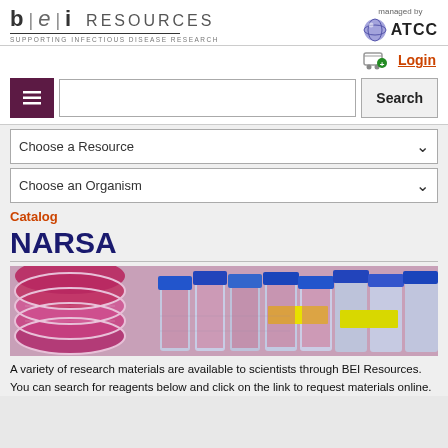[Figure (logo): BEI Resources logo with 'b|e|i RESOURCES' text and 'SUPPORTING INFECTIOUS DISEASE RESEARCH' subtitle, alongside ATCC globe logo and 'managed by ATCC' text]
Login
[Figure (screenshot): Navigation menu button (hamburger icon, purple background) and search bar with Search button]
Choose a Resource
Choose an Organism
Catalog
NARSA
[Figure (photo): Laboratory photo showing petri dishes with pink/magenta culture media stacked on left and blue-capped laboratory bottles/flasks with yellow labels on right]
A variety of research materials are available to scientists through BEI Resources. You can search for reagents below and click on the link to request materials online.